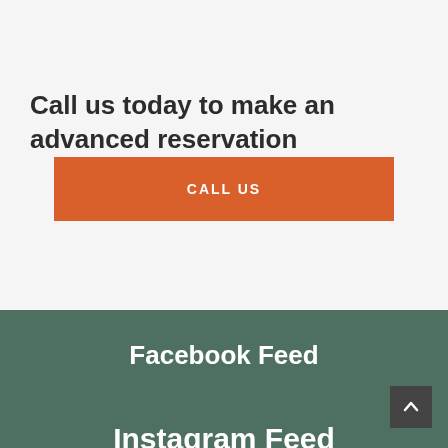Call us today to make an advanced reservation
CALL US
Facebook Feed
Instagram Feed